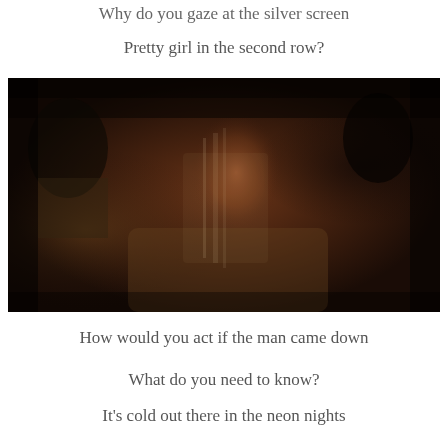Why do you gaze at the silver screen
Pretty girl in the second row?
[Figure (photo): A woman with curly hair in a dark cinema setting, wearing a brown jacket, looking forward with a serious expression. A projection of film imagery overlays her face. Other people are visible in the background.]
How would you act if the man came down
What do you need to know?
It's cold out there in the neon nights